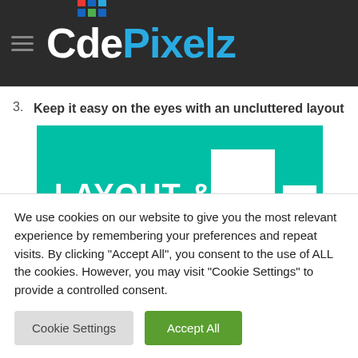CodePixelz
3. Keep it easy on the eyes with an uncluttered layout
[Figure (illustration): Teal banner image with white bold text reading 'LAYOUT & STYLES' and a grid of white squares on the right side]
We use cookies on our website to give you the most relevant experience by remembering your preferences and repeat visits. By clicking "Accept All", you consent to the use of ALL the cookies. However, you may visit "Cookie Settings" to provide a controlled consent.
Cookie Settings | Accept All